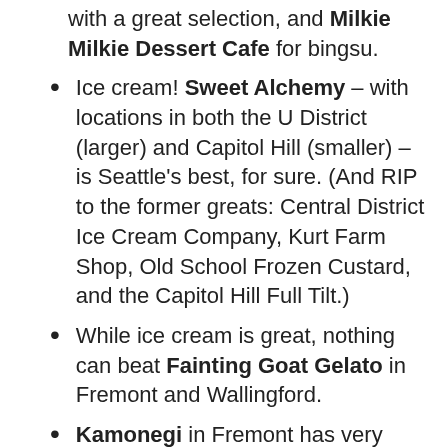with a great selection, and Milkie Milkie Dessert Cafe for bingsu.
Ice cream! Sweet Alchemy – with locations in both the U District (larger) and Capitol Hill (smaller) – is Seattle's best, for sure. (And RIP to the former greats: Central District Ice Cream Company, Kurt Farm Shop, Old School Frozen Custard, and the Capitol Hill Full Tilt.)
While ice cream is great, nothing can beat Fainting Goat Gelato in Fremont and Wallingford.
Kamonegi in Fremont has very good (albeit a bit pricey) handmade soba noodles and tempura (and sake). The overall best Fremont food place is definitely Cafe Turko for amazing Turkish food and dessert, though.
Canlis Top Pot... with ID (larger) and Capitol...